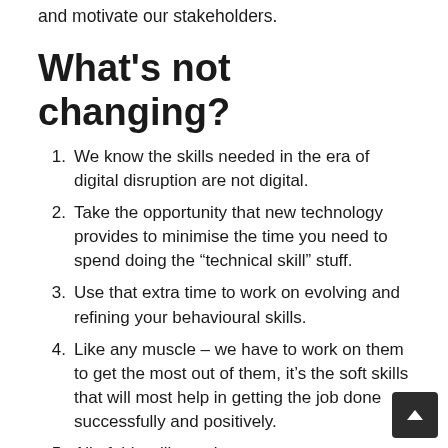The kind of projects we do, and how we manage and motivate our stakeholders.
What's not changing?
1. We know the skills needed in the era of digital disruption are not digital.
2. Take the opportunity that new technology provides to minimise the time you need to spend doing the “technical skill” stuff.
3. Use that extra time to work on evolving and refining your behavioural skills.
4. Like any muscle – we have to work on them to get the most out of them, it’s the soft skills that will most help in getting the job done successfully and positively.
5. All of this will go a long way to set you up as a project management leader in the new